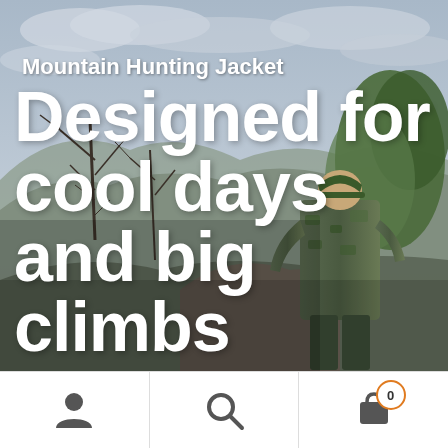[Figure (photo): A man in camouflage hunting gear standing on a rocky mountain ridge with bare trees and forested hills in the background under a cloudy sky.]
Mountain Hunting Jacket
Designed for cool days and big climbs